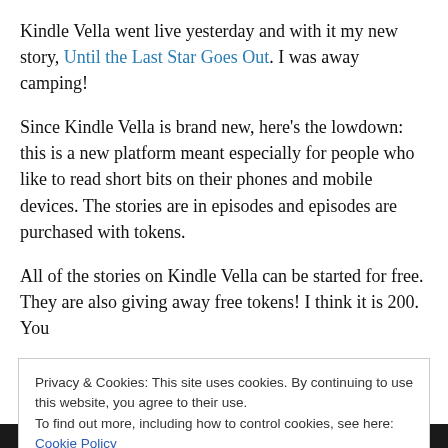Kindle Vella went live yesterday and with it my new story, Until the Last Star Goes Out. I was away camping!
Since Kindle Vella is brand new, here's the lowdown: this is a new platform meant especially for people who like to read short bits on their phones and mobile devices. The stories are in episodes and episodes are purchased with tokens.
All of the stories on Kindle Vella can be started for free. They are also giving away free tokens! I think it is 200. You
Privacy & Cookies: This site uses cookies. By continuing to use this website, you agree to their use. To find out more, including how to control cookies, see here: Cookie Policy
Close and accept
Episode 5